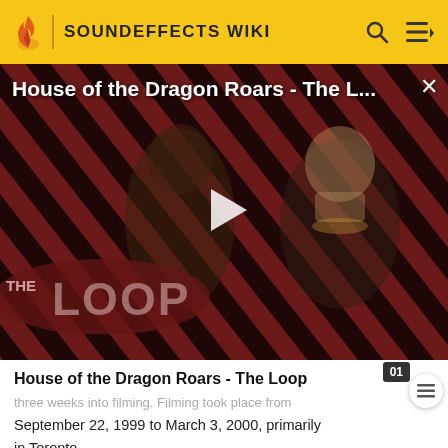SOUNDEFFECTS WIKI
[Figure (screenshot): Video thumbnail for 'House of the Dragon Roars - The L...' showing two characters from House of the Dragon against a diagonal red and black striped background with The Loop logo overlay and a play button in the center.]
House of the Dragon Roars - The Loop
three weeks into filming. Filming took place from September 22, 1999 to March 3, 2000, primarily in Toronto.